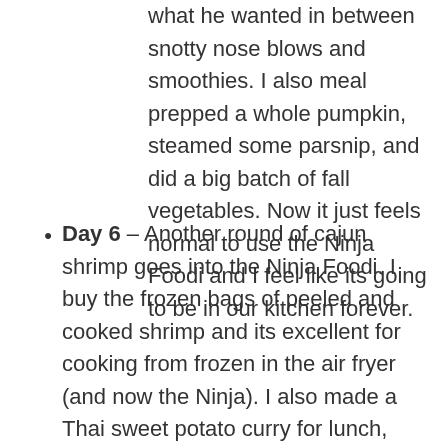what he wanted in between snotty nose blows and smoothies. I also meal prepped a whole pumpkin, steamed some parsnip, and did a big batch of fall vegetables. Now it just feels normal to use the Ninja Foodi and I feel like its going to be in our kitchen forever.
Day 6 – Another round of cajun shrimp goes into the Ninja Foodi. I buy the frozen bags of peeled and cooked shrimp and its excellent for cooking from frozen in the air fryer (and now the Ninja). I also made a Thai sweet potato curry for lunch, then the leftovers in the evening became shrimp and chickpea Thai curry. Its my first one pot dinner using the pressure cooker option and I must say it went very well.